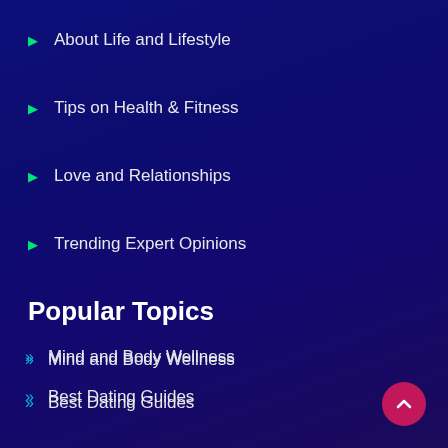About Life and Lifestyle
Tips on Health & Fitness
Love and Relationships
Trending Expert Opinions
Popular Topics
Mind and Body Wellness
Best Dating Guides
Investment Strategies
Better Life Hacks
Career Guidance